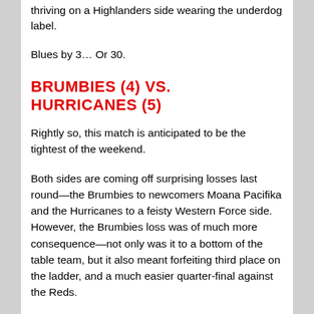thriving on a Highlanders side wearing the underdog label.
Blues by 3… Or 30.
BRUMBIES (4) VS. HURRICANES (5)
Rightly so, this match is anticipated to be the tightest of the weekend.
Both sides are coming off surprising losses last round—the Brumbies to newcomers Moana Pacifika and the Hurricanes to a feisty Western Force side. However, the Brumbies loss was of much more consequence—not only was it to a bottom of the table team, but it also meant forfeiting third place on the ladder, and a much easier quarter-final against the Reds.